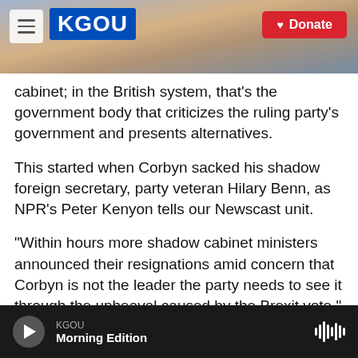KGOU — Donate
cabinet; in the British system, that's the government body that criticizes the ruling party's government and presents alternatives.
This started when Corbyn sacked his shadow foreign secretary, party veteran Hilary Benn, as NPR's Peter Kenyon tells our Newscast unit.
"Within hours more shadow cabinet ministers announced their resignations amid concern that Corbyn is not the leader the party needs to see it through the upheaval caused by the Brexit vote," Peter says. He adds that Corbyn has "vowed to
KGOU
Morning Edition